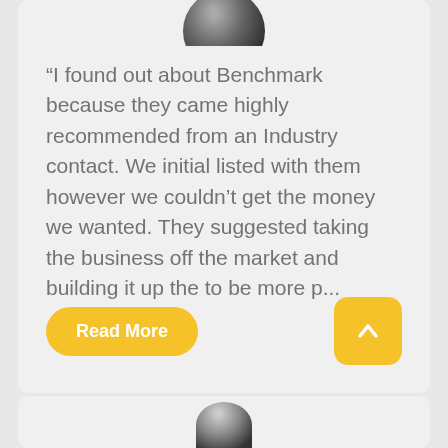[Figure (photo): Circular avatar/profile photo cropped at top of testimonial card, showing a person in dark clothing]
“I found out about Benchmark because they came highly recommended from an Industry contact. We initial listed with them however we couldn’t get the money we wanted. They suggested taking the business off the market and building it up the to be more p...
Read More
[Figure (photo): Partial circular avatar/profile photo at top of next testimonial card below]